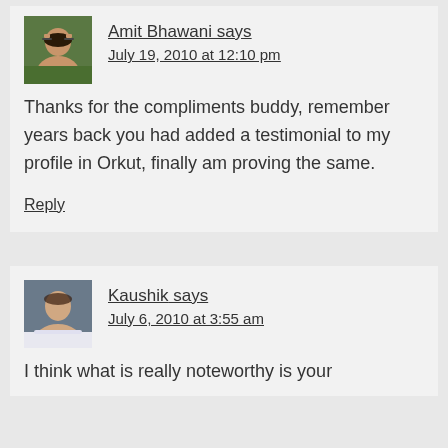Amit Bhawani says
July 19, 2010 at 12:10 pm

Thanks for the compliments buddy, remember years back you had added a testimonial to my profile in Orkut, finally am proving the same.

Reply
Kaushik says
July 6, 2010 at 3:55 am

I think what is really noteworthy is your